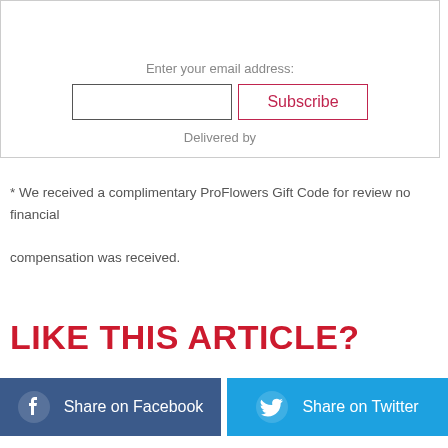Enter your email address:
Delivered by
* We received a complimentary ProFlowers Gift Code for review no financial compensation was received.
LIKE THIS ARTICLE?
Share on Facebook
Share on Twitter